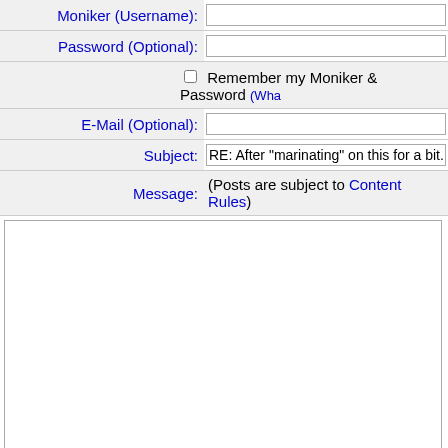Moniker (Username): [input field]
Password (Optional): [input field]
☐ Remember my Moniker & Password (Wha...)
E-Mail (Optional): [input field]
Subject: RE: After "marinating" on this for a bit...
Message: (Posts are subject to Content Rules)
[message textarea]
Optional Link URL: [input field]
Optional Link Title: [input field]
Optional Image URL: [input field]
Upload Image: Choose File  No file chosen
E-mail Replies: ☐ Automagically notify you when someo...